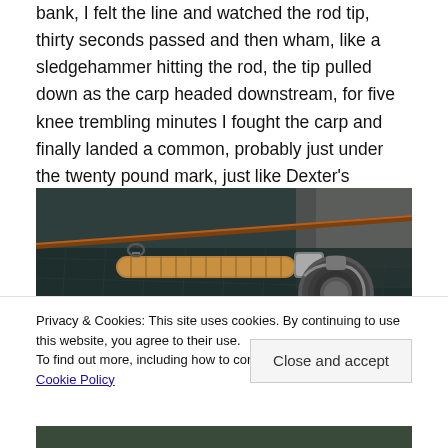bank, I felt the line and watched the rod tip, thirty seconds passed and then wham, like a sledgehammer hitting the rod, the tip pulled down as the carp headed downstream, for five knee trembling minutes I fought the carp and finally landed a common, probably just under the twenty pound mark, just like Dexter's common from last year. The wizardry of carp fishing strikes again!
[Figure (photo): A fishing rod with cork grip and a spinning reel resting on a dark fishing net, photographed from above]
Privacy & Cookies: This site uses cookies. By continuing to use this website, you agree to their use.
To find out more, including how to control cookies, see here: Cookie Policy
Close and accept